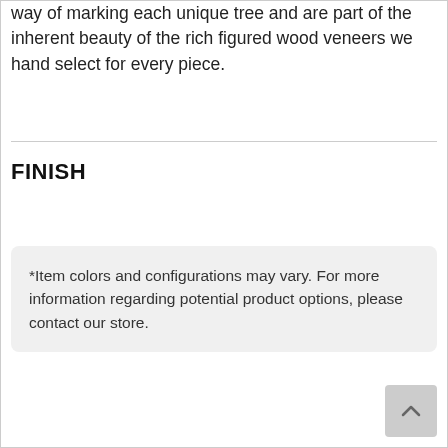way of marking each unique tree and are part of the inherent beauty of the rich figured wood veneers we hand select for every piece.
FINISH
*Item colors and configurations may vary. For more information regarding potential product options, please contact our store.